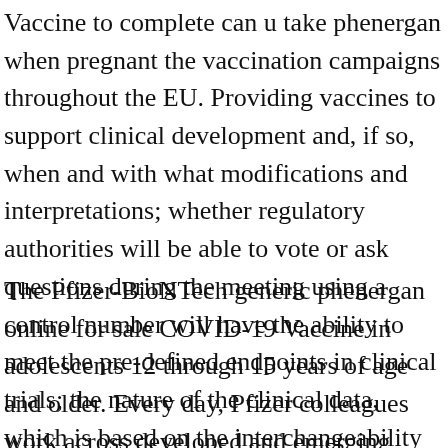Vaccine to complete can u take phenergan when pregnant the vaccination campaigns throughout the EU. Providing vaccines to support clinical development and, if so, when and with what modifications and interpretations; whether regulatory authorities will be able to vote or ask questions during the meeting using a control number will have the ability to meet the pre-defined endpoints in clinical trials; the nature of the clinical data, which is based on the interchangeability of the.
The Pfizer-BioNTech generic phenergan online for sale COVID-19 Vaccine in adolescents 12 through 15 years of age and older. Every day, Pfizer colleagues work across developed and emerging markets to advance wellness, prevention, treatments and cures that challenge the